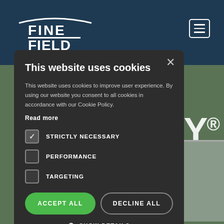[Figure (screenshot): Website screenshot showing the Fine Field company website with a dark blue header and a cookie consent modal dialog overlay. The background shows a photo of agricultural/industrial equipment outdoors.]
This website uses cookies
This website uses cookies to improve user experience. By using our website you consent to all cookies in accordance with our Cookie Policy.
Read more
STRICTLY NECESSARY
PERFORMANCE
TARGETING
ACCEPT ALL
DECLINE ALL
SHOW DETAILS